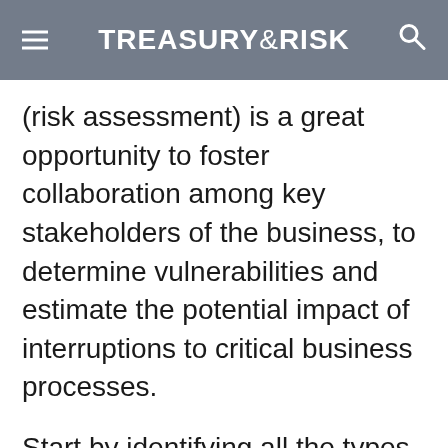TREASURY&RISK
(risk assessment) is a great opportunity to foster collaboration among key stakeholders of the business, to determine vulnerabilities and estimate the potential impact of interruptions to critical business processes.
Start by identifying all the types of emergencies the business may face. This can be a great chance to think